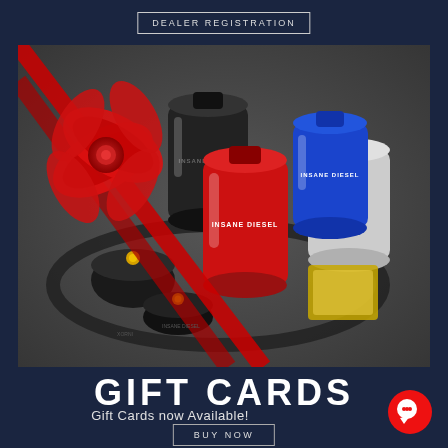DEALER REGISTRATION
[Figure (photo): Product photo showing multiple cylindrical diesel engine parts/filters in black, red, blue, and white/silver colors arranged in a circular tray, with a red decorative ribbon bow in the upper left corner against a dark background.]
GIFT CARDS
Gift Cards now Available!
BUY NOW
[Figure (illustration): Red circular chat/message bubble icon in the bottom right corner.]